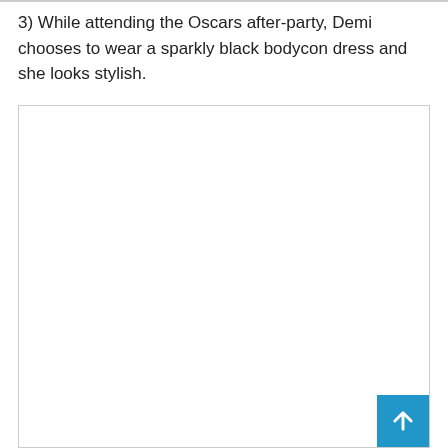3) While attending the Oscars after-party, Demi chooses to wear a sparkly black bodycon dress and she looks stylish.
[Figure (other): Large blank white image box with a thin gray border, occupying most of the lower portion of the page. A blue scroll-to-top button appears in the bottom-right corner.]